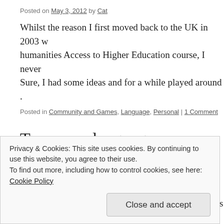Posted on May 3, 2012 by Cat
Whilst the reason I first moved back to the UK in 2003 w... humanities Access to Higher Education course, I never... Sure, I had some ideas and for a while played around ...
Posted in Community and Games, Language, Personal | 1 Comment
Too many languages..
Posted on April 30, 2012 by Cat
..yet it's only two! My inability to speak German has fou... blogposts before with the most notable one being this...
Privacy & Cookies: This site uses cookies. By continuing to use this website, you agree to their use. To find out more, including how to control cookies, see here: Cookie Policy
Close and accept